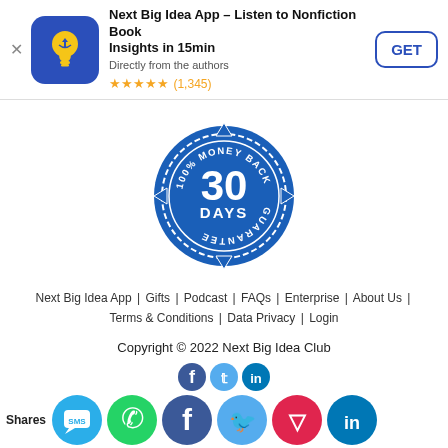[Figure (screenshot): App store banner for Next Big Idea App with icon, title, subtitle, star rating, and GET button]
[Figure (illustration): 100% Money Back 30 Days Guarantee blue circular badge/stamp]
Next Big Idea App | Gifts | Podcast | FAQs | Enterprise | About Us | Terms & Conditions | Data Privacy | Login
Copyright © 2022 Next Big Idea Club
[Figure (infographic): Social media sharing icons: SMS, WhatsApp, Facebook, Twitter, Pocket, LinkedIn (bottom row) and Facebook, Twitter, LinkedIn (top row small). Shares label on left.]